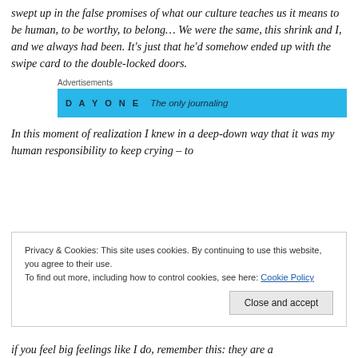swept up in the false promises of what our culture teaches us it means to be human, to be worthy, to belong… We were the same, this shrink and I, and we always had been. It's just that he'd somehow ended up with the swipe card to the double-locked doors.
Advertisements
[Figure (screenshot): Advertisement banner for Day One journaling app, light blue background with 'DAY ONE' text and 'The only journaling' text]
In this moment of realization I knew in a deep-down way that it was my human responsibility to keep crying – to
Privacy & Cookies: This site uses cookies. By continuing to use this website, you agree to their use.
To find out more, including how to control cookies, see here: Cookie Policy
Close and accept
if you feel big feelings like I do, remember this: they are a